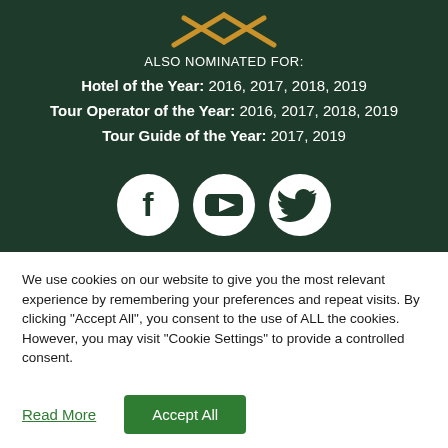[Figure (logo): Decorative crossed items logo in gold/amber color on dark green background, partially visible at top]
ALSO NOMINATED FOR:
Hotel of the Year: 2016, 2017, 2018, 2019
Tour Operator of the Year: 2016, 2017, 2018, 2019
Tour Guide of the Year: 2017, 2019
[Figure (illustration): Three social media icons in white circles on dark green: Facebook, YouTube, Twitter]
We use cookies on our website to give you the most relevant experience by remembering your preferences and repeat visits. By clicking "Accept All", you consent to the use of ALL the cookies. However, you may visit "Cookie Settings" to provide a controlled consent.
Read More
Accept All